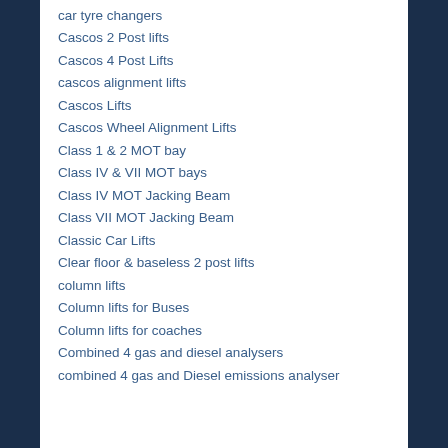car tyre changers
Cascos 2 Post lifts
Cascos 4 Post Lifts
cascos alignment lifts
Cascos Lifts
Cascos Wheel Alignment Lifts
Class 1 & 2 MOT bay
Class IV & VII MOT bays
Class IV MOT Jacking Beam
Class VII MOT Jacking Beam
Classic Car Lifts
Clear floor & baseless 2 post lifts
column lifts
Column lifts for Buses
Column lifts for coaches
Combined 4 gas and diesel analysers
combined 4 gas and Diesel emissions analyser